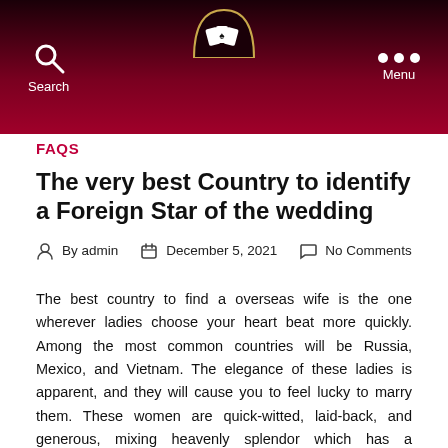Search | [Logo] | Menu
FAQS
The very best Country to identify a Foreign Star of the wedding
By admin   December 5, 2021   No Comments
The best country to find a overseas wife is the one wherever ladies choose your heart beat more quickly. Among the most common countries will be Russia, Mexico, and Vietnam. The elegance of these ladies is apparent, and they will cause you to feel lucky to marry them. These women are quick-witted, laid-back, and generous, mixing heavenly splendor which has a generous and kind spirit. You will not have to worry about settling with respect to anything below the best.